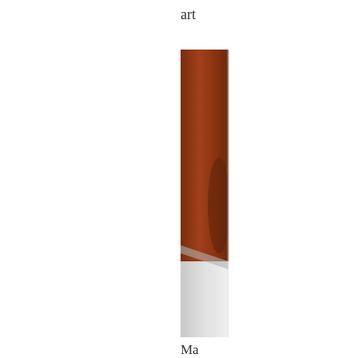art
[Figure (photo): A narrow vertical strip of a photograph showing reddish-brown tones in the upper portion (possibly wood or fabric) and light gray/white tones in the lower portion, cropped tightly.]
Ma
(pi
at
the
rig